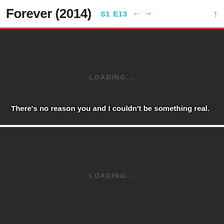Forever (2014) S1 E13 ← → ↑
[Figure (screenshot): Dark video player panel showing LOADING... text with subtitle: There's no reason you and I couldn't be something real.]
[Figure (screenshot): Dark video player panel showing LOADING... text, second frame.]